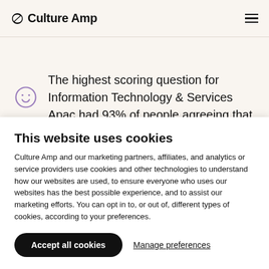Culture Amp
The highest scoring question for Information Technology & Services Apac had 93% of people agreeing that
This website uses cookies
Culture Amp and our marketing partners, affiliates, and analytics or service providers use cookies and other technologies to understand how our websites are used, to ensure everyone who uses our websites has the best possible experience, and to assist our marketing efforts. You can opt in to, or out of, different types of cookies, according to your preferences.
Accept all cookies
Manage preferences